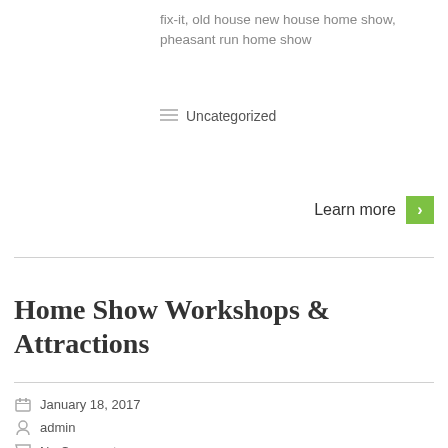fix-it, old house new house home show, pheasant run home show
Uncategorized
Learn more
Home Show Workshops & Attractions
January 18, 2017
admin
No Comments
[Figure (photo): Collage of home show workshop images: man smiling, kitchen interior, garden flowers, colorful art/design triangles, two women posing]